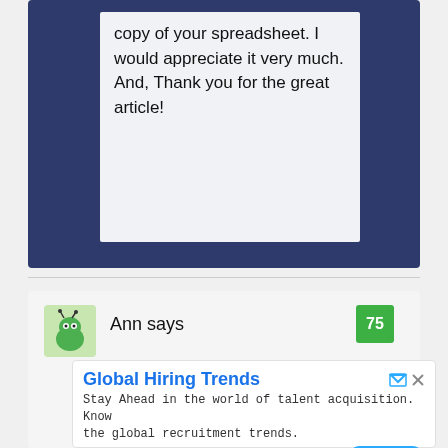copy of your spreadsheet. I would appreciate it very much. And, Thank you for the great article!
Ann says
[Figure (illustration): Green bug/monster avatar icon for user Ann]
75
Global Hiring Trends
Stay Ahead in the world of talent acquisition. Know the global recruitment trends.
RChilli Inc
Open